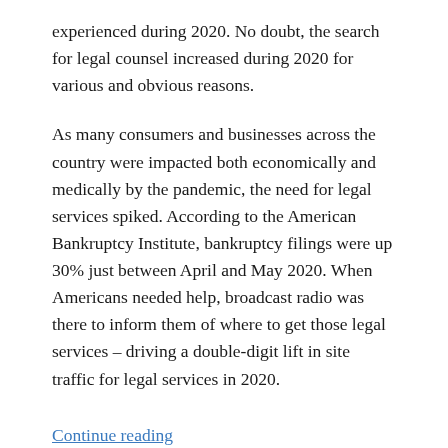experienced during 2020. No doubt, the search for legal counsel increased during 2020 for various and obvious reasons.
As many consumers and businesses across the country were impacted both economically and medically by the pandemic, the need for legal services spiked. According to the American Bankruptcy Institute, bankruptcy filings were up 30% just between April and May 2020. When Americans needed help, broadcast radio was there to inform them of where to get those legal services – driving a double-digit lift in site traffic for legal services in 2020.
Continue reading